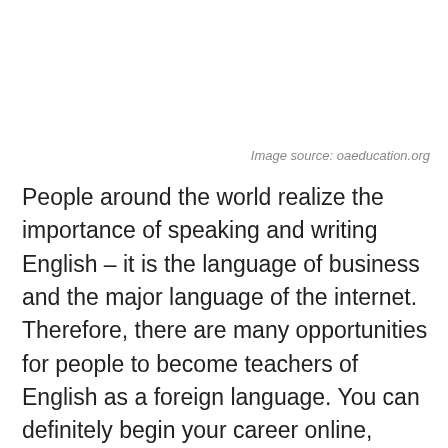Image source: oaeducation.org
People around the world realize the importance of speaking and writing English – it is the language of business and the major language of the internet. Therefore, there are many opportunities for people to become teachers of English as a foreign language. You can definitely begin your career online, completing a TEFL course. Then, you can offer online tutorials with people around the world. Some companies even hire people to teach English over the phone to adult students.